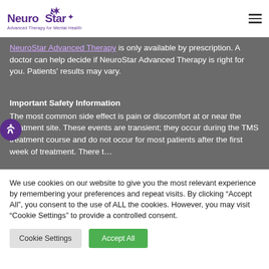NeuroStar Advanced Therapy for Mental Health
The NeuroStar Advanced Therapy System is intended to be used as an adjunct for the treatment of adult patients suffering from Obsessive-Compulsive Disorder (OCD). NeuroStar Advanced Therapy is only available by prescription. A doctor can help decide if NeuroStar Advanced Therapy is right for you. Patients' results may vary.
Important Safety Information
The most common side effect is pain or discomfort at or near the treatment site. These events are transient; they occur during the TMS treatment course and do not occur for most patients after the first week of treatment. There t...
We use cookies on our website to give you the most relevant experience by remembering your preferences and repeat visits. By clicking “Accept All”, you consent to the use of ALL the cookies. However, you may visit "Cookie Settings" to provide a controlled consent.